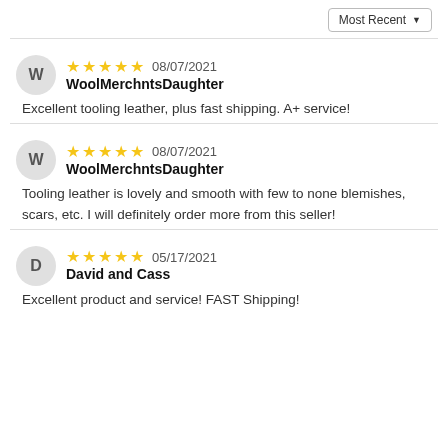Most Recent ▼
★★★★★ 08/07/2021
WoolMerchntsDaughter
Excellent tooling leather, plus fast shipping. A+ service!
★★★★★ 08/07/2021
WoolMerchntsDaughter
Tooling leather is lovely and smooth with few to none blemishes, scars, etc. I will definitely order more from this seller!
★★★★★ 05/17/2021
David and Cass
Excellent product and service! FAST Shipping!